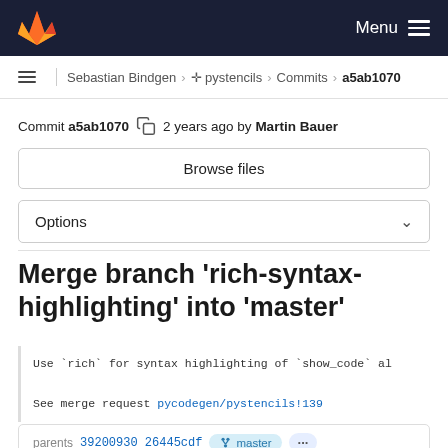GitLab Menu
Sebastian Bindgen > pystencils > Commits > a5ab1070
Commit a5ab1070  2 years ago by Martin Bauer
Browse files
Options
Merge branch 'rich-syntax-highlighting' into 'master'
Use `rich` for syntax highlighting of `show_code` al

See merge request pycodegen/pystencils!139
parents 39200930926445cdf  master  ...